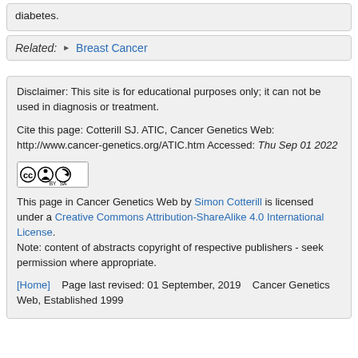diabetes.
Related: ▶ Breast Cancer
Disclaimer: This site is for educational purposes only; it can not be used in diagnosis or treatment.
Cite this page: Cotterill SJ. ATIC, Cancer Genetics Web: http://www.cancer-genetics.org/ATIC.htm Accessed: Thu Sep 01 2022
[Figure (logo): Creative Commons BY-SA license badge]
This page in Cancer Genetics Web by Simon Cotterill is licensed under a Creative Commons Attribution-ShareAlike 4.0 International License. Note: content of abstracts copyright of respective publishers - seek permission where appropriate.
[Home]    Page last revised: 01 September, 2019     Cancer Genetics Web, Established 1999